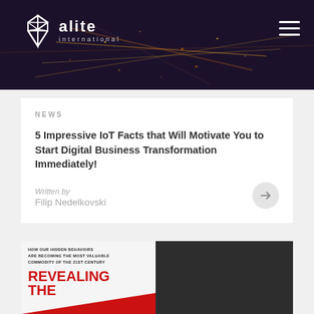[Figure (screenshot): Dark hero banner with city lights aerial photo background]
alite international
NEWS
5 Impressive IoT Facts that Will Motivate You to Start Digital Business Transformation Immediately!
Written by
Filip Nedelkovski
[Figure (photo): Book cover: 'Revealing The...' with tagline 'How our hidden behaviors are becoming the most valuable commodity of the 21st century']